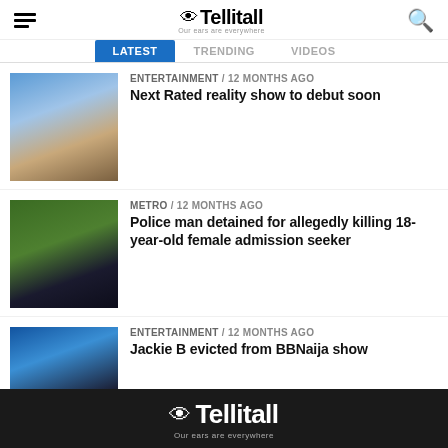Tellitall — Our ears are everywhere
ENTERTAINMENT / 12 months ago — Next Rated reality show to debut soon
METRO / 12 months ago — Police man detained for allegedly killing 18-year-old female admission seeker
ENTERTAINMENT / 12 months ago — Jackie B evicted from BBNaija show
Tellitall — Our ears are everywhere